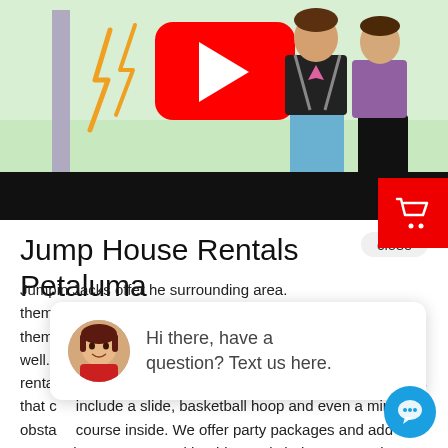[Figure (screenshot): YouTube video thumbnail showing illustrated cartoon characters and a YouTube play button, with a green background. Two illustrated people on the right, a pole/sign on the left with yellow lightning bolt designs.]
Jump House Rentals Petaluma
Jumpin Jacks offer … the surrounding area. … themes like castles … themes licensed fr … well. Looking for more than just a standard jumper rental. We have you covered with our combo bounce houses that … include a slide, basketball hoop and even a mini obsta… course inside. We offer party packages and add ons to complete your party with tables and chairs, concessions like
[Figure (screenshot): Chat popup overlay: avatar photo of a woman in red, with text 'Hi there, have a question? Text us here.']